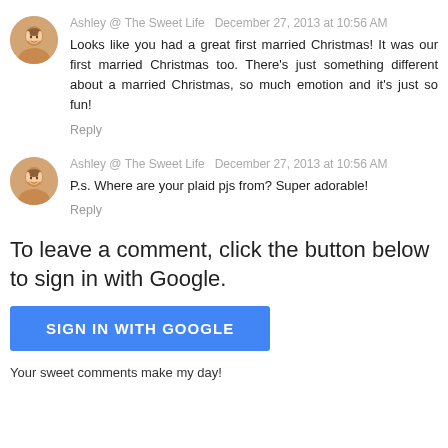[Figure (photo): Round avatar photo of a smiling woman (Ashley)]
Ashley @ The Sweet Life  December 27, 2013 at 10:56 AM
Looks like you had a great first married Christmas! It was our first married Christmas too. There's just something different about a married Christmas, so much emotion and it's just so fun!
Reply
[Figure (photo): Round avatar photo of a smiling woman (Ashley)]
Ashley @ The Sweet Life  December 27, 2013 at 10:56 AM
P.s. Where are your plaid pjs from? Super adorable!
Reply
To leave a comment, click the button below to sign in with Google.
SIGN IN WITH GOOGLE
Your sweet comments make my day!